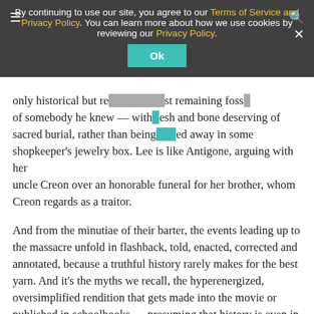[Figure (screenshot): Cookie consent banner overlay on a website. Contains hamburger menu icon, search icon, and close icon. Text reads: 'By continuing to use our site, you agree to our Terms of Service and Privacy Policy. You can learn more about how we use cookies by reviewing our Privacy Policy.' with a teal 'Ok' button.]
only historical but re[mains the la]st remaining foss[il] of somebody he knew — with[ fle]sh and bone deserving of sacred burial, rather than being [lock]ed away in some shopkeeper's jewelry box. Lee is like Antigone, arguing with her uncle Creon over an honorable funeral for her brother, whom Creon regards as a traitor.
And from the minutiae of their barter, the events leading up to the massacre unfold in flashback, told, enacted, corrected and annotated, because a truthful history rarely makes for the best yarn. And it's the myths we recall, the hyperenergized, oversimplified rendition that gets made into the movie or published in schoolbooks — presuming that history is even in the curriculum.
The history that unfolds in the play includes Chinese human traffickers and slave traders, and Caucasians who risked their lives to protect the persecuted. It's the Holocaust in miniature, set in the Wild West. L.A. in 1871 had only six policemen, according to the play. One local sheriff, calling on marauding Angelenos to go